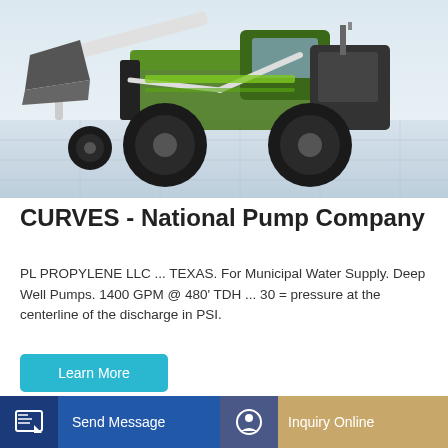[Figure (photo): Green and black wheeled loader/construction machine with a bucket attachment, photographed on a light gray tiled floor background]
CURVES - National Pump Company
PL PROPYLENE LLC ... TEXAS. For Municipal Water Supply. Deep Well Pumps. 1400 GPM @ 480' TDH ... 30 = pressure at the centerline of the discharge in PSI.
[Figure (photo): Yellow concrete mixer / pump truck parked in front of a large building, with mixing discharge label visible on the drum]